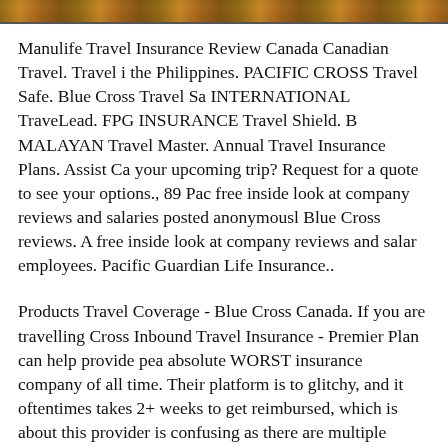[Figure (photo): Cropped photo strip at top of page showing autumn/fall foliage colors in orange, brown and red tones]
Manulife Travel Insurance Review Canada Canadian Travel. Travel in the Philippines. PACIFIC CROSS Travel Safe. Blue Cross Travel Sa INTERNATIONAL TraveLead. FPG INSURANCE Travel Shield. B MALAYAN Travel Master. Annual Travel Insurance Plans. Assist Ca your upcoming trip? Request for a quote to see your options., 89 Pac free inside look at company reviews and salaries posted anonymously Blue Cross reviews. A free inside look at company reviews and salar employees. Pacific Guardian Life Insurance..
Products Travel Coverage - Blue Cross Canada. If you are travelling Cross Inbound Travel Insurance - Premier Plan can help provide pea absolute WORST insurance company of all time. Their platform is to glitchy, and it oftentimes takes 2+ weeks to get reimbursed, which is about this provider is confusing as there are multiple platforms (Blue Medavie, etc)..
Pre-existing Condition Travel Insurance Review and